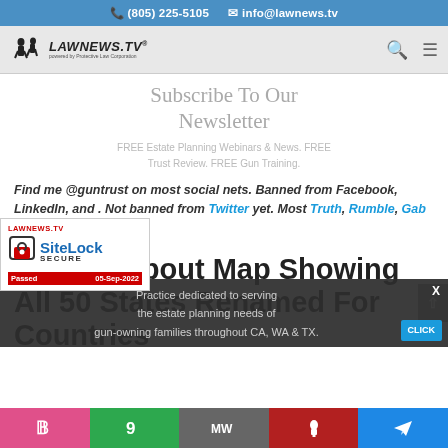(805) 225-5105   info@lawnews.tv
[Figure (logo): LawNews.TV logo with two figures and brand name]
Subscribe To Our Newsletter
FREE Estate Planning Webinars & News. FREE Trust Review. FREE Gun Training.
Find me @guntrust on most social nets. Banned from Facebook, LinkedIn, and . Not banned from Twitter yet. Most Truth, Rumble, Gab and Telegram.
[Figure (logo): SiteLock SECURE badge — Passed 05-Sep-2022]
Doubts About Map Showing All 50 States Renamed For Countries With Similar Gun...
Practice dedicated to serving the estate planning needs of gun-owning families throughout CA, WA & TX.
Social share icons: pink P, green 9, MW, dark icon, blue Telegram